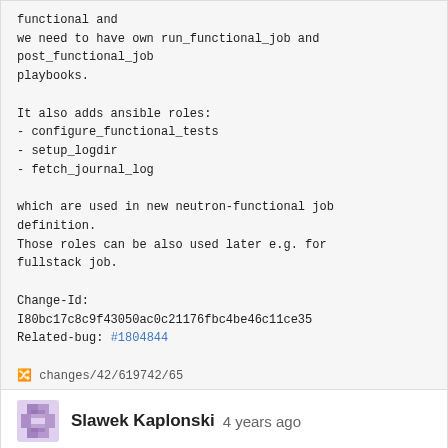functional and
we need to have own run_functional_job and
post_functional_job
playbooks.

It also adds ansible roles:
- configure_functional_tests
- setup_logdir
- fetch_journal_log

which are used in new neutron-functional job
definition.
Those roles can be also used later e.g. for
fullstack job.

Change-Id:
I80bc17c8c9f43050ac0c21176fbc4be46c11ce35
Related-bug: #1804844

🔀 changes/42/619742/65
Slawek Kaplonski 4 years ago
parent 6920727fe1   commit 33110fb7e8
+ 18 changed files 150 additions 293 deletions
Whitespace   Split View   Diff Options